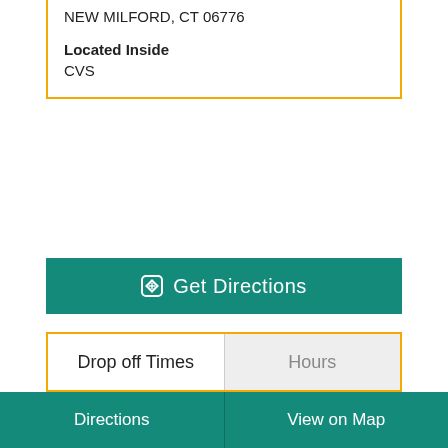NEW MILFORD, CT 06776
Located Inside
CVS
Get Directions
Drop off Times	Hours
Latest Drop off Times
| Weekday | Ground | Air |
| --- | --- | --- |
| Mon - Fri | 2:30 PM | 2:30 PM |
| Sat | 3:00 PM | 3:00 PM |
Directions	View on Map